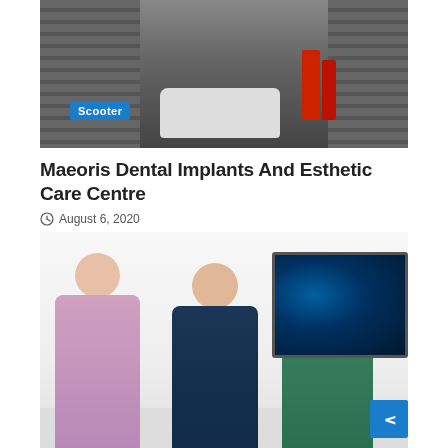[Figure (photo): Garage interior with metal rolling doors on left and right, a white car visible in the center, red cylindrical drums on the right side, with a 'Scooter' label overlay in blue]
Maeoris Dental Implants And Esthetic Care Centre
August 6, 2020
[Figure (photo): Three people sitting around a table in a bright office setting. A woman and a man are smiling on the left side, while a third person faces away. A computer monitor displaying a car interior is visible on the right.]